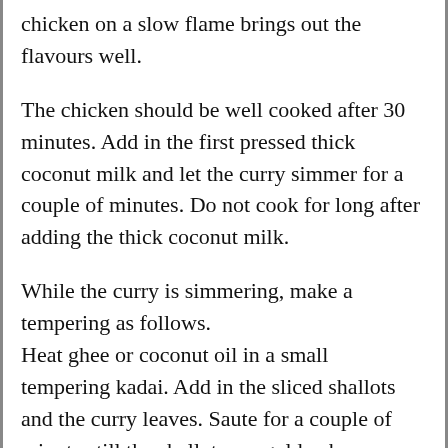chicken on a slow flame brings out the flavours well.
The chicken should be well cooked after 30 minutes. Add in the first pressed thick coconut milk and let the curry simmer for a couple of minutes. Do not cook for long after adding the thick coconut milk.
While the curry is simmering, make a tempering as follows.
Heat ghee or coconut oil in a small tempering kadai. Add in the sliced shallots and the curry leaves. Saute for a couple of minutes till the shallots are golden brown.